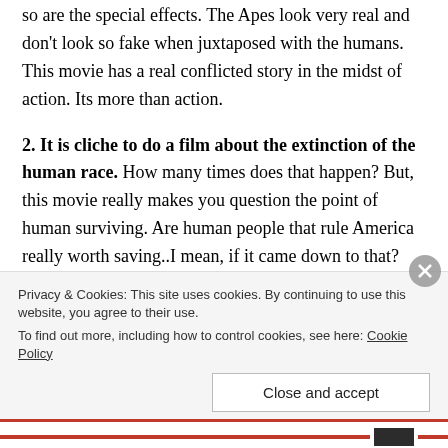so are the special effects. The Apes look very real and don't look so fake when juxtaposed with the humans. This movie has a real conflicted story in the midst of action. Its more than action.
2. It is cliche to do a film about the extinction of the human race. How many times does that happen? But, this movie really makes you question the point of human surviving. Are human people that rule America really worth saving..I mean, if it came down to that? Yes and no. You hate the humans that hate the Apes and
Privacy & Cookies: This site uses cookies. By continuing to use this website, you agree to their use. To find out more, including how to control cookies, see here: Cookie Policy
Close and accept